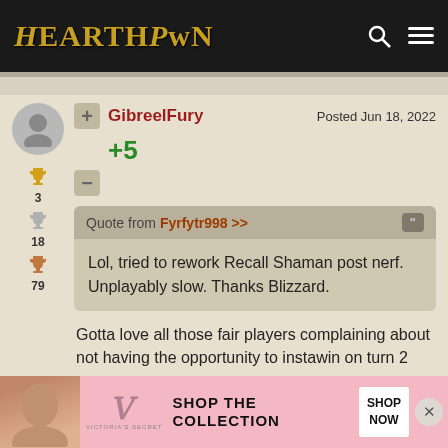HearthPwn
GibreelFury    Posted Jun 18, 2022
+5
3
18
79
Quote from Fyrfytr998 >>
Lol, tried to rework Recall Shaman post nerf. Unplayably slow. Thanks Blizzard.
Gotta love all those fair players complaining about not having the opportunity to instawin on turn 2
[Figure (screenshot): Victoria's Secret advertisement banner at the bottom of the page]